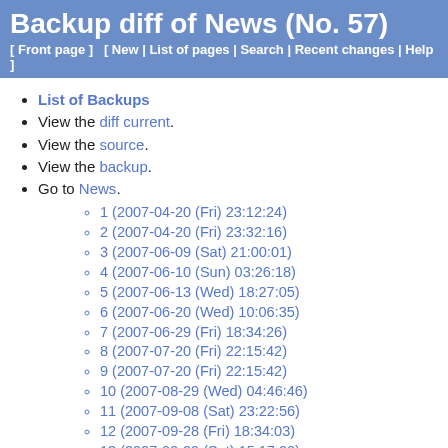Backup diff of News (No. 57)
[ Front page ]   [ New | List of pages | Search | Recent changes | Help ]
List of Backups
View the diff current.
View the source.
View the backup.
Go to News.
1 (2007-04-20 (Fri) 23:12:24)
2 (2007-04-20 (Fri) 23:32:16)
3 (2007-06-09 (Sat) 21:00:01)
4 (2007-06-10 (Sun) 03:26:18)
5 (2007-06-13 (Wed) 18:27:05)
6 (2007-06-20 (Wed) 10:06:35)
7 (2007-06-29 (Fri) 18:34:26)
8 (2007-07-20 (Fri) 22:15:42)
9 (2007-07-20 (Fri) 22:15:42)
10 (2007-08-29 (Wed) 04:46:46)
11 (2007-09-08 (Sat) 23:22:56)
12 (2007-09-28 (Fri) 18:34:03)
13 (2007-09-29 (Sat) 15:17:20)
14 (2007-10-17 (Wed) 23:05:03)
15 (2007-10-21 (Sun) 13:11:21)
16 (2007-10-24 (Wed) 16:04:10)